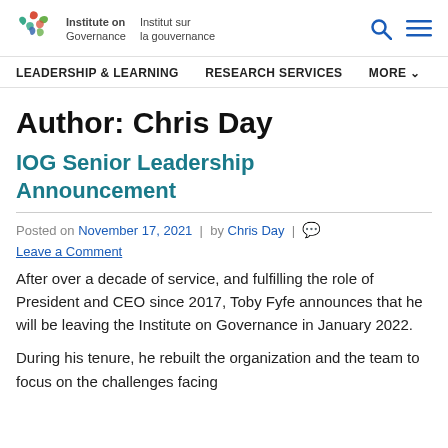Institute on Governance | Institut sur la gouvernance
LEADERSHIP & LEARNING   RESEARCH SERVICES   MORE
Author: Chris Day
IOG Senior Leadership Announcement
Posted on November 17, 2021 | by Chris Day | Leave a Comment
After over a decade of service, and fulfilling the role of President and CEO since 2017, Toby Fyfe announces that he will be leaving the Institute on Governance in January 2022.
During his tenure, he rebuilt the organization and the team to focus on the challenges facing